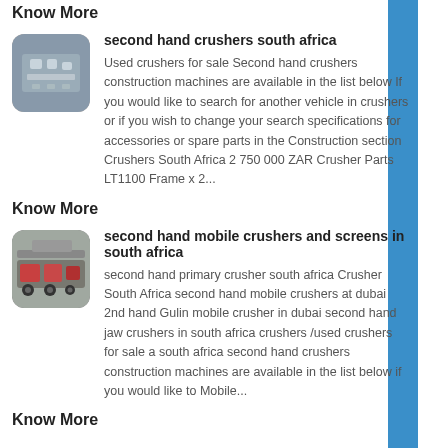Know More
[Figure (photo): Thumbnail image of crushers/construction machinery from aerial view]
second hand crushers south africa
Used crushers for sale Second hand crushers construction machines are available in the list below If you would like to search for another vehicle in crushers or if you wish to change your search specifications for accessories or spare parts in the Construction section Crushers South Africa 2 750 000 ZAR Crusher Parts LT1100 Frame x 2...
Know More
[Figure (photo): Thumbnail image of mobile crushers and screens]
second hand mobile crushers and screens in south africa
second hand primary crusher south africa Crusher South Africa second hand mobile crushers at dubai 2nd hand Gulin mobile crusher in dubai second hand jaw crushers in south africa crushers /used crushers for sale a south africa second hand crushers construction machines are available in the list below if you would like to Mobile...
Know More